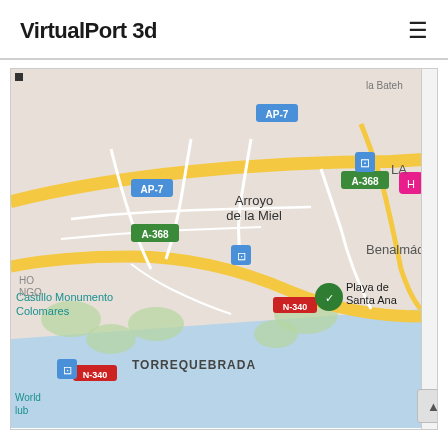VirtualPort 3d
[Figure (map): Google Maps screenshot showing the area around Benalmádena, Spain, including landmarks: Arroyo de la Miel, Castillo Monumento Colomares, TORREQUEBRADA, Playa de Santa Ana, Benalmádena. Roads shown: AP-7, A-368, N-340.]